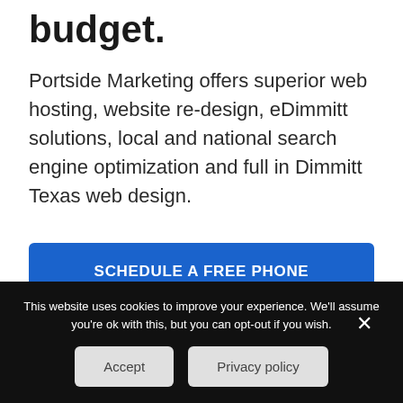budget.
Portside Marketing offers superior web hosting, website re-design, eDimmitt solutions, local and national search engine optimization and full in Dimmitt Texas web design.
SCHEDULE A FREE PHONE CONSULTATION
This website uses cookies to improve your experience. We'll assume you're ok with this, but you can opt-out if you wish.
Accept
Privacy policy